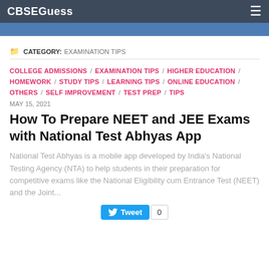CBSEGuess
CATEGORY: EXAMINATION TIPS
COLLEGE ADMISSIONS / EXAMINATION TIPS / HIGHER EDUCATION / HOMEWORK / STUDY TIPS / LEARNING TIPS / ONLINE EDUCATION / OTHERS / SELF IMPROVEMENT / TEST PREP / TIPS
MAY 15, 2021
How To Prepare NEET and JEE Exams with National Test Abhyas App
National Test Abhyas is a mobile app developed by India's National Testing Agency (NTA) to help students in their preparation for competitive exams like the National Eligibility cum Entrance Test (NEET) and the Joint...
Tweet 0